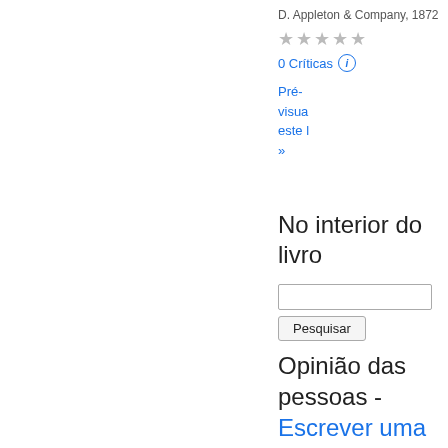D. Appleton & Company, 1872
★★★★★
0 Críticas ℹ
Pré-visualizar este livro »
No interior do livro
Pesquisar
Opinião das pessoas - Escrever uma crítica
Não foram encontradas